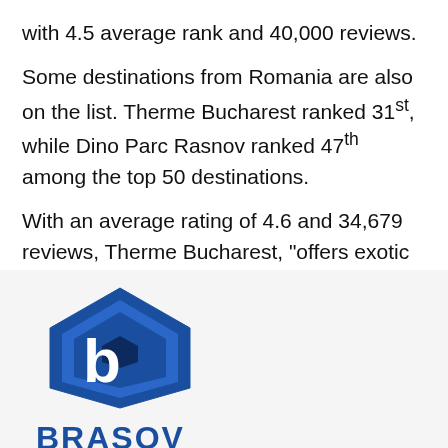with 4.5 average rank and 40,000 reviews.
Some destinations from Romania are also on the list. Therme Bucharest ranked 31st, while Dino Parc Rasnov ranked 47th among the top 50 destinations.
With an average rating of 4.6 and 34,679 reviews, Therme Bucharest, “offers exotic scenery with spectacular indoor slides that makes it a perfect
[Figure (logo): Brasov city logo — blue hexagon badge with a stylized letter b inside, and the word BRASOV in bold blue capitals below]